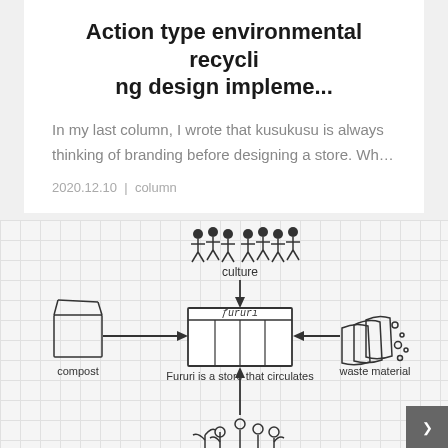Action type environmental recycling design impleme...
In my last column, I wrote that kusukusu is always thinking of branding before designing a store. Wh…
2020.12.10 | column
[Figure (flowchart): A hand-drawn circular flow diagram showing: 'culture' (group of people icons) at top with arrow pointing down to 'Fururi' store in center. 'compost' (box) on left with arrow pointing right to Fururi. 'waste material' (stacked materials with dots) on right with arrow pointing left to Fururi. Arrow pointing up from bottom to Fururi with plant/sprout icons below labeled. Text: 'Fururi is a store that circulates'.]